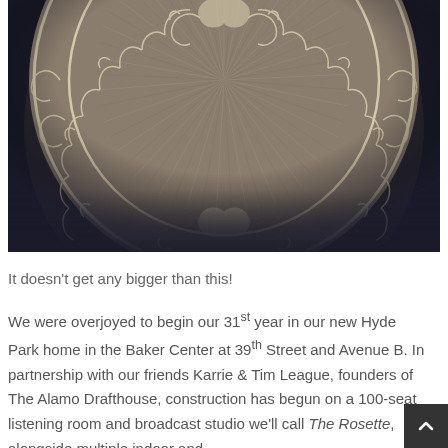[Figure (photo): A circular decorative medallion or round table top with radiating sunburst wood grain pattern in the center and ornate scrolling floral/vine border design in cream/beige tones, photographed against a dark background.]
It doesn't get any bigger than this!
We were overjoyed to begin our 31st year in our new Hyde Park home in the Baker Center at 39th Street and Avenue B. In partnership with our friends Karrie & Tim League, founders of The Alamo Drafthouse, construction has begun on a 100-seat listening room and broadcast studio we'll call The Rosette, alongside multiple indoor and